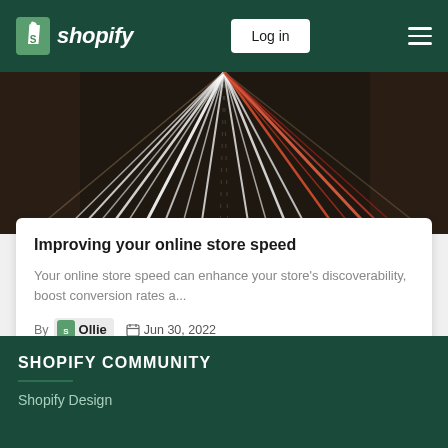Shopify — Log in
[Figure (photo): Long-exposure photo of highway at night showing streaking white and red car lights on multilane road, viewed from above]
Improving your online store speed
Your online store speed can enhance your store's discoverability, boost conversion rates a...
By Ollie  Jun 30, 2022
SHOPIFY COMMUNITY
Shopify Design